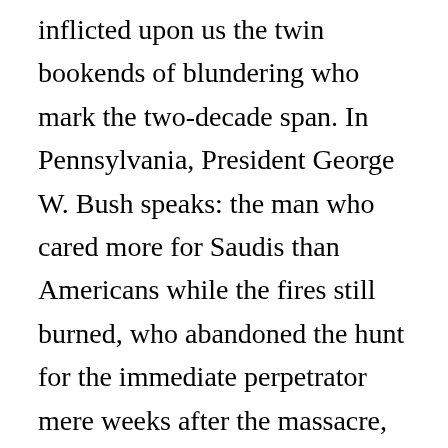inflicted upon us the twin bookends of blundering who mark the two-decade span. In Pennsylvania, President George W. Bush speaks: the man who cared more for Saudis than Americans while the fires still burned, who abandoned the hunt for the immediate perpetrator mere weeks after the massacre, and who cynically leveraged the moment to pursue his own disastrous projects. In Manhattan